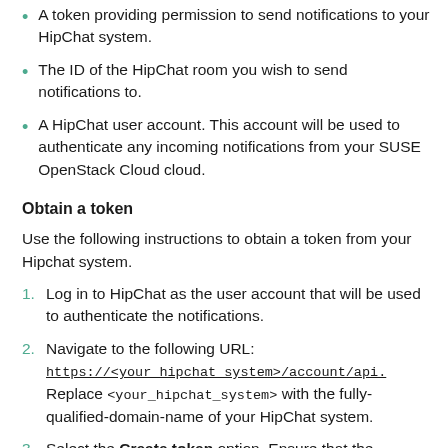A token providing permission to send notifications to your HipChat system.
The ID of the HipChat room you wish to send notifications to.
A HipChat user account. This account will be used to authenticate any incoming notifications from your SUSE OpenStack Cloud cloud.
Obtain a token
Use the following instructions to obtain a token from your Hipchat system.
1. Log in to HipChat as the user account that will be used to authenticate the notifications.
2. Navigate to the following URL: https://<your_hipchat_system>/account/api. Replace <your_hipchat_system> with the fully-qualified-domain-name of your HipChat system.
3. Select the Create token option. Ensure that the